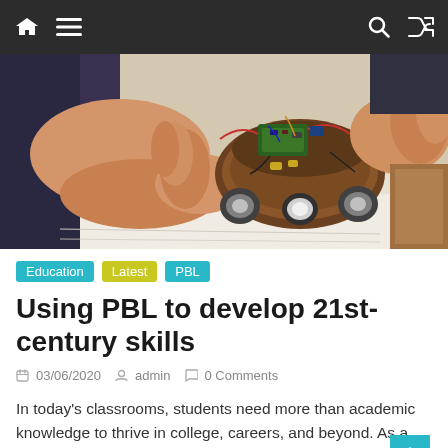Navigation bar with home, menu, search, and shuffle icons
[Figure (photo): Hands of a student assembling or working on a small wheeled robot with electronic components, wires, and circuit boards on a white surface.]
Education  Latest  PBL
Using PBL to develop 21st-century skills
03/06/2020  admin  0 Comments
In today's classrooms, students need more than academic knowledge to thrive in college, careers, and beyond. As a result, educators